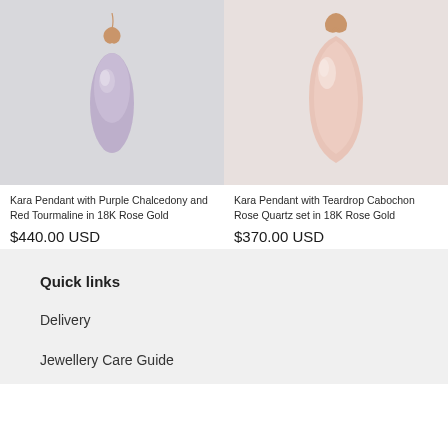[Figure (photo): Kara Pendant with Purple Chalcedony and Red Tourmaline in 18K Rose Gold - jewelry photo on light gray background]
[Figure (photo): Kara Pendant with Teardrop Cabochon Rose Quartz set in 18K Rose Gold - jewelry photo on light pink background]
Kara Pendant with Purple Chalcedony and Red Tourmaline in 18K Rose Gold
$440.00 USD
Kara Pendant with Teardrop Cabochon Rose Quartz set in 18K Rose Gold
$370.00 USD
Quick links
Delivery
Jewellery Care Guide